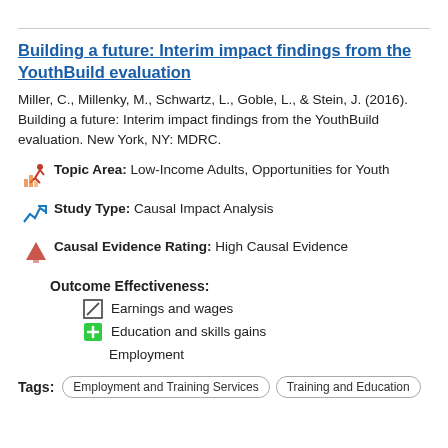Building a future: Interim impact findings from the YouthBuild evaluation
Miller, C., Millenky, M., Schwartz, L., Goble, L., & Stein, J. (2016). Building a future: Interim impact findings from the YouthBuild evaluation. New York, NY: MDRC.
Topic Area: Low-Income Adults, Opportunities for Youth
Study Type: Causal Impact Analysis
Causal Evidence Rating: High Causal Evidence
Outcome Effectiveness:
Earnings and wages
Education and skills gains Employment
Tags: Employment and Training Services   Training and Education